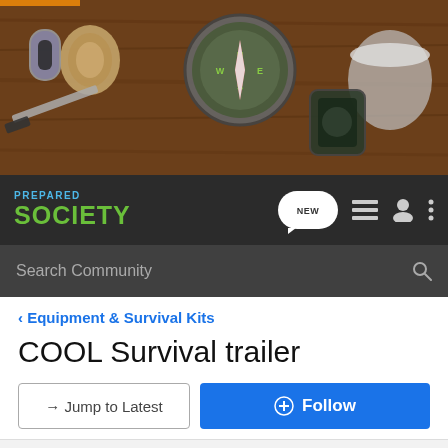[Figure (photo): Hero banner showing survival gear on a wooden surface: compass, carabiner, rope, knife, multi-tool, and metal cup]
[Figure (logo): Prepared Society logo in blue and green with navigation icons]
Search Community
< Equipment & Survival Kits
COOL Survival trailer
→ Jump to Latest
+ Follow
1 - 9 of 9 Posts
DragoSapien · Amateur Radio KF5AEJ
Joined Aug 18, 2009 · 5 Posts